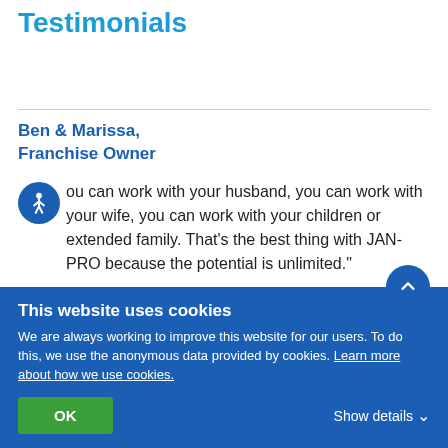Testimonials
Ben & Marissa, Franchise Owner
"You can work with your husband, you can work with your wife, you can work with your children or extended family. That's the best thing with JAN-PRO because the potential is unlimited."
This website uses cookies
We are always working to improve this website for our users. To do this, we use the anonymous data provided by cookies. Learn more about how we use cookies.
OK  Show details